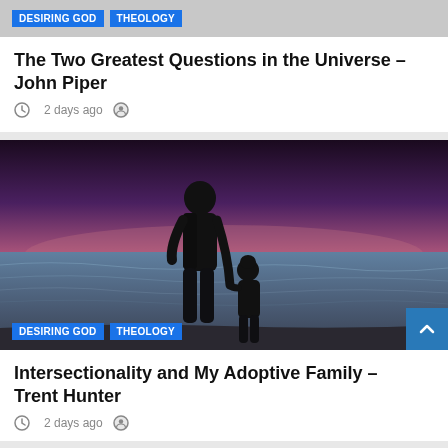DESIRING GOD   THEOLOGY
The Two Greatest Questions in the Universe – John Piper
2 days ago
[Figure (photo): Silhouette of a father and child holding hands on a beach at sunset/dusk, with ocean waves in the background and a purple-pink sky]
DESIRING GOD   THEOLOGY
Intersectionality and My Adoptive Family – Trent Hunter
2 days ago